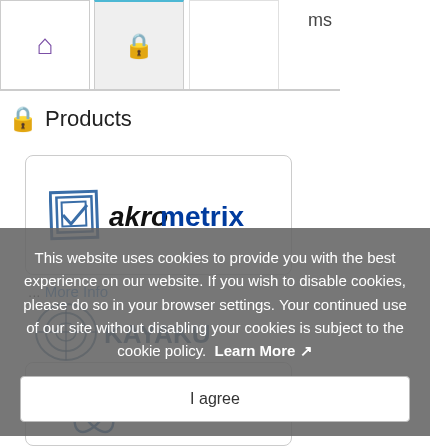[Figure (screenshot): Navigation tabs showing home icon (purple) and lock icon (gold/brown), with partial text 'ms' visible at top right]
Products
[Figure (logo): Akrometrix logo with diamond icon and blue/black text]
... More Info
This website uses cookies to provide you with the best experience on our website. If you wish to disable cookies, please do so in your browser settings. Your continued use of our site without disabling your cookies is subject to the cookie policy. Learn More
I agree
[Figure (logo): Kayak logo partially visible behind overlay]
[Figure (logo): Bruker logo with atom graphic and bold text 'BRUKER']